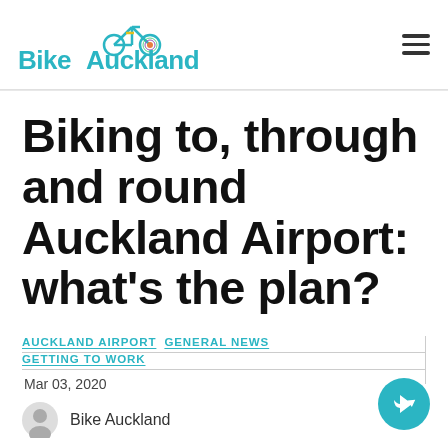Bike Auckland
Biking to, through and round Auckland Airport: what's the plan?
AUCKLAND AIRPORT  GENERAL NEWS  GETTING TO WORK
Mar 03, 2020
Bike Auckland